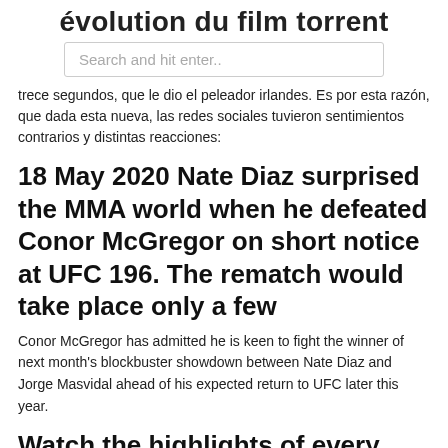évolution du film torrent
Search and hit enter..
trece segundos, que le dio el peleador irlandes. Es por esta razón, que dada esta nueva, las redes sociales tuvieron sentimientos contrarios y distintas reacciones:
18 May 2020 Nate Diaz surprised the MMA world when he defeated Conor McGregor on short notice at UFC 196. The rematch would take place only a few
Conor McGregor has admitted he is keen to fight the winner of next month's blockbuster showdown between Nate Diaz and Jorge Masvidal ahead of his expected return to UFC later this year.
Watch the highlights of every UFC lightweight champion in history.